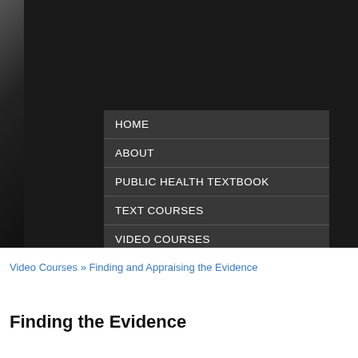[Figure (screenshot): Dark hero banner with navigation menu overlay showing: HOME, ABOUT, PUBLIC HEALTH TEXTBOOK, TEXT COURSES, VIDEO COURSES, TRAINING]
Video Courses » Finding and Appraising the Evidence
Finding the Evidence